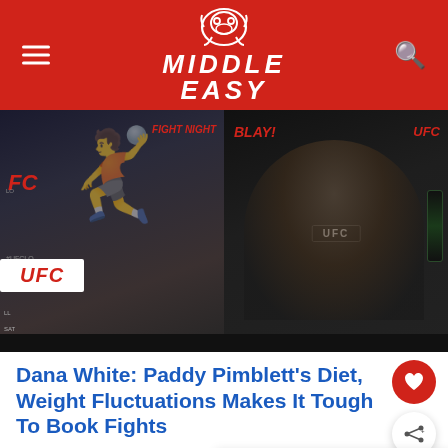MIDDLE EASY
[Figure (photo): Split image: left side shows Paddy Pimblett shirtless at UFC Fight Night London weigh-in with UFC banner; right side shows Dana White speaking into a UFC microphone at a press conference with Monster Energy drink visible]
Dana White: Paddy Pimblett’s Diet, Weight Fluctuations Makes It Tough To Book Fights
[Figure (photo): WHAT'S NEXT thumbnail with Dana White image, text reading 'Dana White Shares UFC...']
[Figure (photo): Bottom partial image showing a fighter or food item in golden/warm tones with partial text visible on right side]